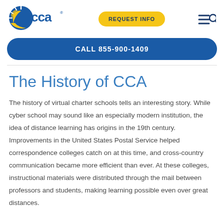[Figure (logo): CCA logo with sun/globe icon and 'cca' text in blue and yellow]
[Figure (other): REQUEST INFO button in yellow rounded rectangle]
[Figure (other): Hamburger menu and search icon in navy]
CALL 855-900-1409
The History of CCA
The history of virtual charter schools tells an interesting story. While cyber school may sound like an especially modern institution, the idea of distance learning has origins in the 19th century. Improvements in the United States Postal Service helped correspondence colleges catch on at this time, and cross-country communication became more efficient than ever. At these colleges, instructional materials were distributed through the mail between professors and students, making learning possible even over great distances.